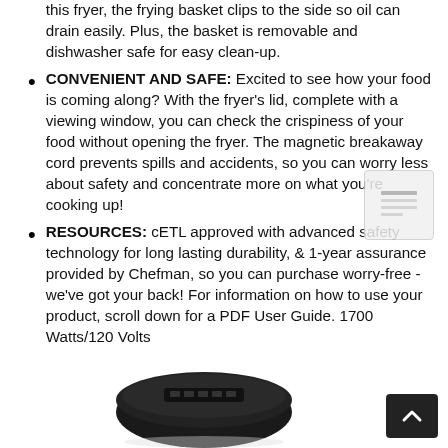this fryer, the frying basket clips to the side so oil can drain easily. Plus, the basket is removable and dishwasher safe for easy clean-up.
CONVENIENT AND SAFE: Excited to see how your food is coming along? With the fryer's lid, complete with a viewing window, you can check the crispiness of your food without opening the fryer. The magnetic breakaway cord prevents spills and accidents, so you can worry less about safety and concentrate more on what you're cooking up!
RESOURCES: cETL approved with advanced safety technology for long lasting durability, & 1-year assurance provided by Chefman, so you can purchase worry-free - we've got your back! For information on how to use your product, scroll down for a PDF User Guide. 1700 Watts/120 Volts
[Figure (photo): Product photo of a Chefman air fryer (black, oval shape) at the bottom of the page]